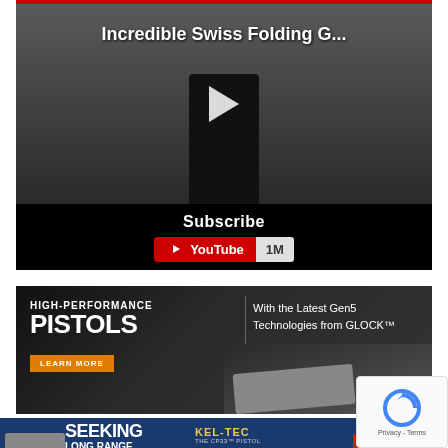[Figure (screenshot): YouTube video thumbnail showing a person holding a bag, with title 'Incredible Swiss Folding G...' and a play button overlay. Below is a black bar with 'Subscribe' text and a YouTube subscribe button showing 1M subscribers.]
[Figure (screenshot): Advertisement for Glock pistols. Dark background with text 'HIGH-PERFORMANCE PISTOLS' and 'With the Latest Gen5 Technologies from GLOCK™'. Orange 'LEARN MORE' button. Image of a pistol in a case.]
[Figure (screenshot): Advertisement banner for Kel-Tec CP33 pistol. Blue background with text 'SEEKING LONG RANGE RELATIONSHIP' and Kel-Tec logo, with 'Buy Now' button on red background.]